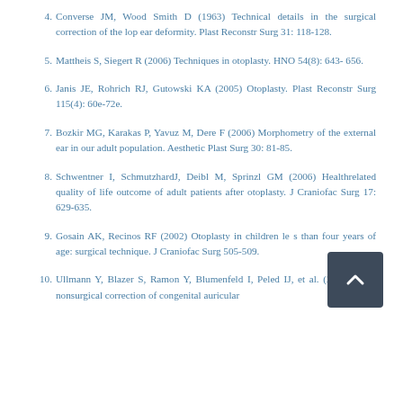4. Converse JM, Wood Smith D (1963) Technical details in the surgical correction of the lop ear deformity. Plast Reconstr Surg 31: 118-128.
5. Mattheis S, Siegert R (2006) Techniques in otoplasty. HNO 54(8): 643- 656.
6. Janis JE, Rohrich RJ, Gutowski KA (2005) Otoplasty. Plast Reconstr Surg 115(4): 60e-72e.
7. Bozkir MG, Karakas P, Yavuz M, Dere F (2006) Morphometry of the external ear in our adult population. Aesthetic Plast Surg 30: 81-85.
8. Schwentner I, SchmutzhardJ, Deibl M, Sprinzl GM (2006) Healthrelated quality of life outcome of adult patients after otoplasty. J Craniofac Surg 17: 629-635.
9. Gosain AK, Recinos RF (2002) Otoplasty in children less than four years of age: surgical technique. J Craniofac Surg 505-509.
10. Ullmann Y, Blazer S, Ramon Y, Blumenfeld I, Peled IJ, et al. (2002) Early nonsurgical correction of congenital auricular